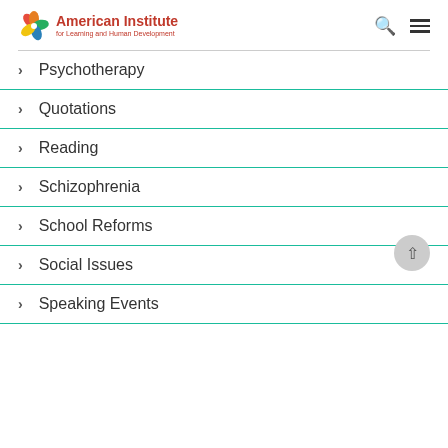American Institute for Learning and Human Development
Psychotherapy
Quotations
Reading
Schizophrenia
School Reforms
Social Issues
Speaking Events